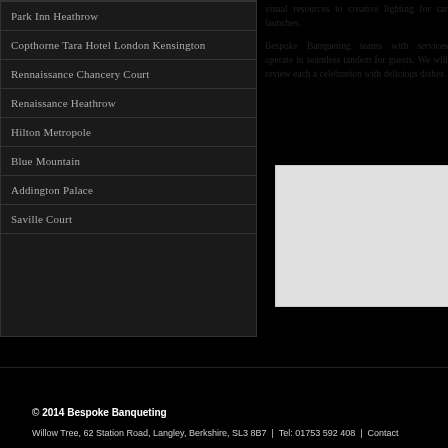Park Inn Heathrow
Copthorne Tara Hotel London Kensington
Rennaissance Chancery Court
Renaissance Heathrow
Hilton Metropole
Blue Mountain
Addington Palace
Saville Court
visual resources to creative lighting for car launches.
Bespoke Banqueting teams with services operate in seamless tandem for guests. We will review each celebration with delicious dishes
[Figure (photo): Light grey placeholder image box]
© 2014 Bespoke Banqueting
Willow Tree, 62 Station Road, Langley, Berkshire, SL3 8B7 | Tel: 01753 592 408 | Contact